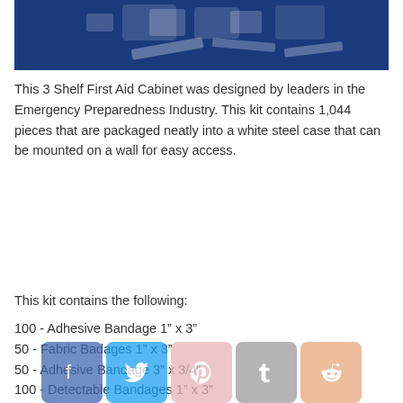[Figure (photo): Top portion of a first aid cabinet product image on a dark blue background showing medical supplies and bandages.]
This 3 Shelf First Aid Cabinet was designed by leaders in the Emergency Preparedness Industry. This kit contains 1,044 pieces that are packaged neatly into a white steel case that can be mounted on a wall for easy access.
This kit contains the following:
100 - Adhesive Bandage 1” x 3”
50 - Fabric Badages 1” x 3”
50 - Adhesive Bandage 3” x 3/4”
100 - Detectable Bandages 1” x 3”
20 - Fingertip Bandage
20- Knuckle Bandage
8 - 2” x 3” Non Sterile Pad
1- Tape Roll
1 - Triangular Bandage
2 - Trauma Pad (5 x 9)
1 - Bandage Compress